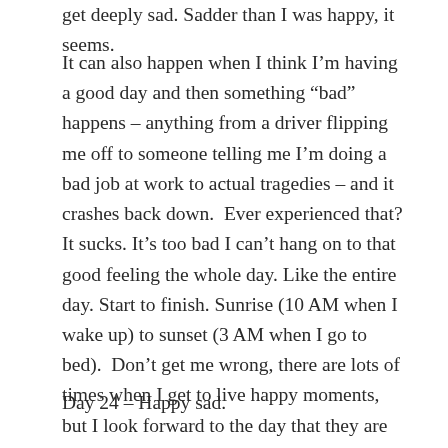get deeply sad. Sadder than I was happy, it seems.
It can also happen when I think I’m having a good day and then something “bad” happens – anything from a driver flipping me off to someone telling me I’m doing a bad job at work to actual tragedies – and it crashes back down. Ever experienced that? It sucks. It’s too bad I can’t hang on to that good feeling the whole day. Like the entire day. Start to finish. Sunrise (10 AM when I wake up) to sunset (3 AM when I go to bed). Don’t get me wrong, there are lots of times when I get to live happy moments, but I look forward to the day that they are more than just moments. Wishful thinking…
Day 24 – Happy sad.